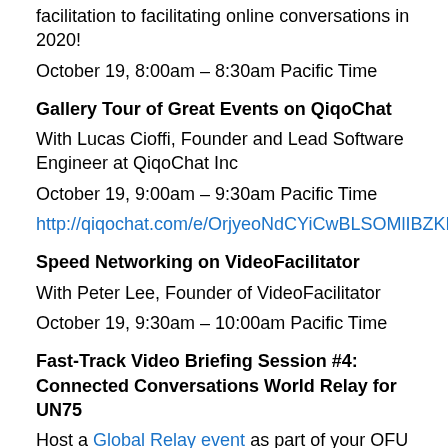facilitation to facilitating online conversations in 2020!
October 19, 8:00am – 8:30am Pacific Time
Gallery Tour of Great Events on QiqoChat
With Lucas Cioffi, Founder and Lead Software Engineer at QiqoChat Inc
October 19, 9:00am – 9:30am Pacific Time
http://qiqochat.com/e/OrjyeoNdCYiCwBLSOMlIBZKDV
Speed Networking on VideoFacilitator
With Peter Lee, Founder of VideoFacilitator
October 19, 9:30am – 10:00am Pacific Time
Fast-Track Video Briefing Session #4: Connected Conversations World Relay for UN75
Host a Global Relay event as part of your OFU experience.
October 19, 2:00pm – 2:45pm Pacific Time